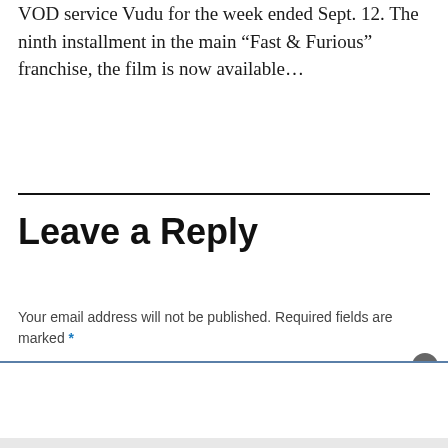VOD service Vudu for the week ended Sept. 12. The ninth installment in the main “Fast & Furious” franchise, the film is now available…
Leave a Reply
Your email address will not be published. Required fields are marked *